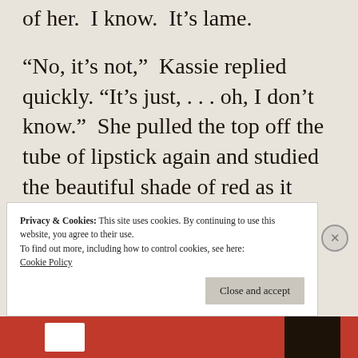of her.  I know.  It's lame.
“No, it’s not,”  Kassie replied quickly. “It’s just, . . . oh, I don’t know.”  She pulled the top off the tube of lipstick again and studied the beautiful shade of red as it emerged.
“It’s kid stuff.”  Jess whispered.
Privacy & Cookies: This site uses cookies. By continuing to use this website, you agree to their use.
To find out more, including how to control cookies, see here:
Cookie Policy
Close and accept